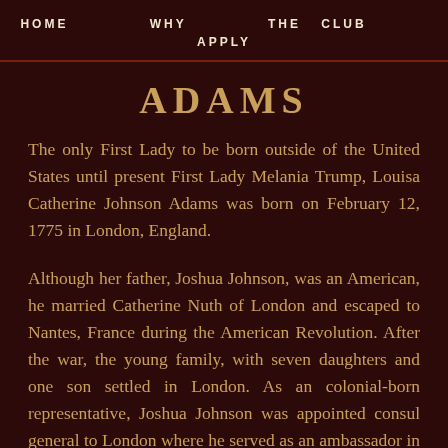HOME   WHY   THE CLUB   APPLY
ADAMS
The only First Lady to be born outside of the United States until present First Lady Melania Trump, Louisa Catherine Johnson Adams was born on February 12, 1775 in London, England.
Although her father, Joshua Johnson, was an American, he married Catherine Nuth of London and escaped to Nantes, France during the American Revolution. After the war, the young family, with seven daughters and one son settled in London. As an colonial-born representative, Joshua Johnson was appointed consul general to London where he served as an ambassador in 1790. Five years later